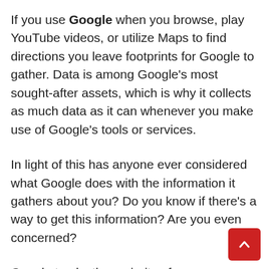If you use Google when you browse, play YouTube videos, or utilize Maps to find directions you leave footprints for Google to gather. Data is among Google's most sought-after assets, which is why it collects as much data as it can whenever you make use of Google's tools or services.
In light of this has anyone ever considered what Google does with the information it gathers about you? Do you know if there's a way to get this information? Are you even concerned?
Google tracks the majority of your interactions with websites, apps, and other services that are connected through Google. It also records everything you do with your Google